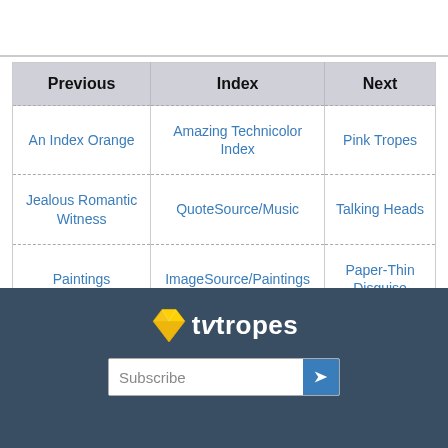| Previous | Index | Next |
| --- | --- | --- |
| An Index Orange | Amazing Technicolor Index | Pink Tropes |
| Jealous Romantic Witness | QuoteSource/Music | Talking Heads |
| Paintings | ImageSource/Paintings | Paper-Thin Disguise |
[Figure (logo): TV Tropes logo with yellow gem/diamond shape and white text 'tvitropes' on dark navy background, with a Subscribe input bar below]